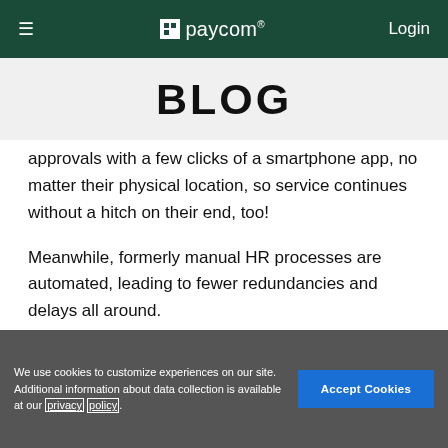≡   paycom®   Login
BLOG
approvals with a few clicks of a smartphone app, no matter their physical location, so service continues without a hitch on their end, too!
Meanwhile, formerly manual HR processes are automated, leading to fewer redundancies and delays all around.
We use cookies to customize experiences on our site. Additional information about data collection is available at our privacy policy.